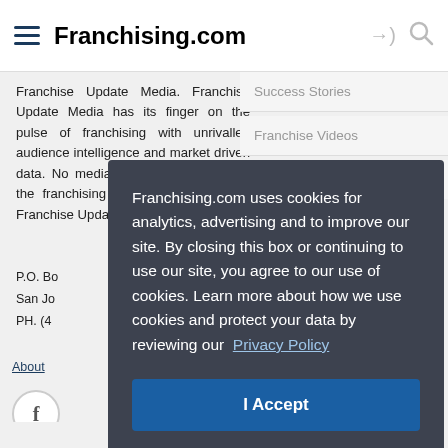Franchising.com
Franchise Update Media. Franchise Update Media has its finger on the pulse of franchising with unrivalled audience intelligence and market driven data. No media company understands the franchising landscape better than Franchise Update Media.
Success Stories
Franchise Videos
Net Worth Calculator
P.O. Bo...
San Jo...
PH. (4...
About
[Figure (other): Facebook icon circle]
Franchising.com uses cookies for analytics, advertising and to improve our site. By closing this box or continuing to use our site, you agree to our use of cookies. Learn more about how we use cookies and protect your data by reviewing our Privacy Policy
I Accept
Awards